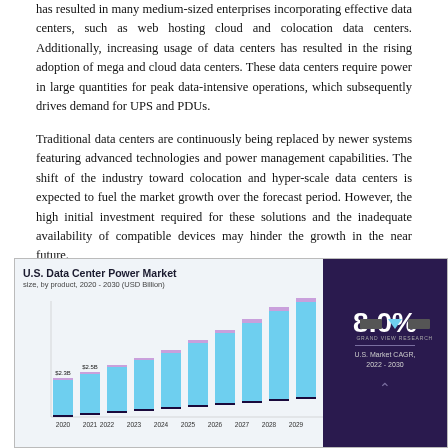has resulted in many medium-sized enterprises incorporating effective data centers, such as web hosting cloud and colocation data centers. Additionally, increasing usage of data centers has resulted in the rising adoption of mega and cloud data centers. These data centers require power in large quantities for peak data-intensive operations, which subsequently drives demand for UPS and PDUs.
Traditional data centers are continuously being replaced by newer systems featuring advanced technologies and power management capabilities. The shift of the industry toward colocation and hyper-scale data centers is expected to fuel the market growth over the forecast period. However, the high initial investment required for these solutions and the inadequate availability of compatible devices may hinder the growth in the near future.
[Figure (stacked-bar-chart): U.S. Data Center Power Market]